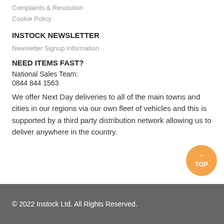Complaints & Resolution
Cookie Policy
INSTOCK NEWSLETTER
Newsletter Signup Information
NEED ITEMS FAST?
National Sales Team:
0844 844 1563
We offer Next Day deliveries to all of the main towns and cities in our regions via our own fleet of vehicles and this is supported by a third party distribution network allowing us to deliver anywhere in the country.
© 2022 Instock Ltd. All Rights Reserved.